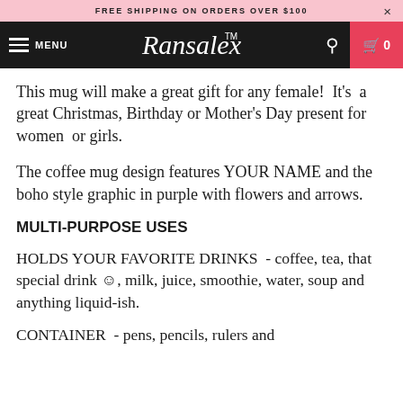FREE SHIPPING ON ORDERS OVER $100
[Figure (logo): Ransalex TM logo in white script on black navigation bar with hamburger menu, search icon, and cart button]
This mug will make a great gift for any female!  It's  a great Christmas, Birthday or Mother's Day present for women  or girls.
The coffee mug design features YOUR NAME and the boho style graphic in purple with flowers and arrows.
MULTI-PURPOSE USES
HOLDS YOUR FAVORITE DRINKS  - coffee, tea, that special drink ☺, milk, juice, smoothie, water, soup and anything liquid-ish.
CONTAINER  - pens, pencils, rulers and